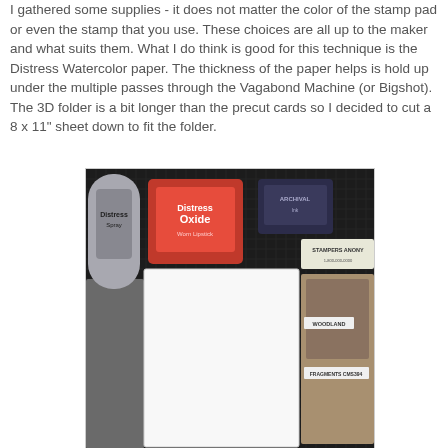I gathered some supplies - it does not matter the color of the stamp pad or even the stamp that you use. These choices are all up to the maker and what suits them. What I do think is good for this technique is the Distress Watercolor paper. The thickness of the paper helps is hold up under the multiple passes through the Vagabond Machine (or Bigshot). The 3D folder is a bit longer than the precut cards so I decided to cut a 8 x 11" sheet down to fit the folder.
[Figure (photo): Photo of crafting supplies laid out on a dark grid cutting mat: a bottle of Distress Spray (gray/silver), a red Distress Oxide ink pad, a dark Archival ink pad, a Stampers Anonymous stamp set, rubber stamp sheets, a gray foam/rubber block, and a white sheet of Distress Watercolor paper cut to size.]